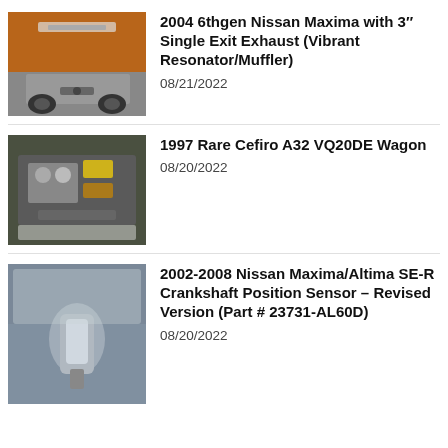[Figure (photo): Rear view of an orange 2004 Nissan Maxima showing exhaust system]
2004 6thgen Nissan Maxima with 3″ Single Exit Exhaust (Vibrant Resonator/Muffler)
08/21/2022
[Figure (photo): Engine bay photo of a 1997 Cefiro A32 VQ20DE Wagon]
1997 Rare Cefiro A32 VQ20DE Wagon
08/20/2022
[Figure (photo): Crankshaft position sensor part wrapped in plastic packaging]
2002-2008 Nissan Maxima/Altima SE-R Crankshaft Position Sensor – Revised Version (Part # 23731-AL60D)
08/20/2022